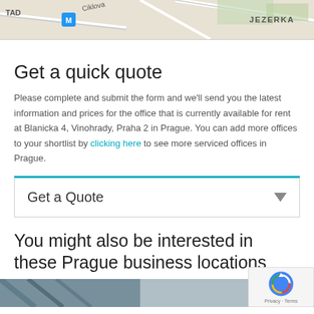[Figure (screenshot): Partial map showing street names including JEZERKA, Ciklova, and a metro station marker]
Get a quick quote
Please complete and submit the form and we'll send you the latest information and prices for the office that is currently available for rent at Blanicka 4, Vinohrady, Praha 2 in Prague. You can add more offices to your shortlist by clicking here to see more serviced offices in Prague.
Get a Quote
You might also be interested in these Prague business locations
[Figure (photo): Bottom strip showing partial photo of Prague business location]
[Figure (logo): reCAPTCHA badge with Privacy and Terms links]